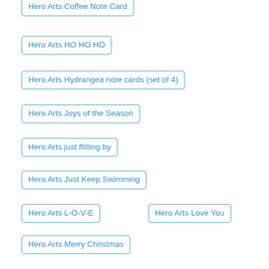Hero Arts Coffee Note Card
Hero Arts HO HO HO
Hero Arts Hydrangea note cards (set of 4)
Hero Arts Joys of the Season
Hero Arts just flitting by
Hero Arts Just Keep Swimming
Hero Arts L-O-V-E
Hero Arts Love You
Hero Arts Merry Christmas
Hero Arts Merry Christmas Wall Hanging
Hero Arts Merry Thank You cards (set of 4)
Hero Arts Oldtimer's Happy Birthday